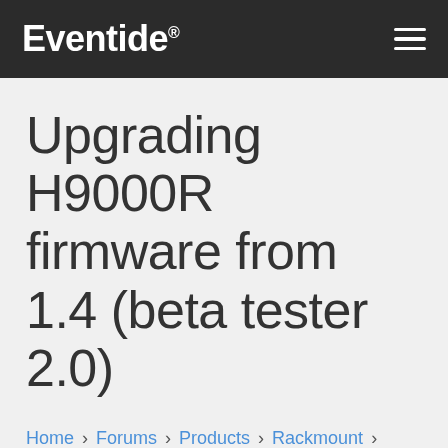Eventide
Upgrading H9000R firmware from 1.4 (beta tester 2.0)
Home › Forums › Products › Rackmount › Upgrading H9000R firmware from 1.4 (beta tester 2.0)